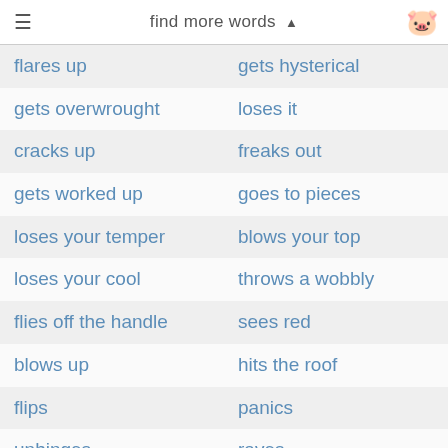find more words ▲
| flares up | gets hysterical |
| gets overwrought | loses it |
| cracks up | freaks out |
| gets worked up | goes to pieces |
| loses your temper | blows your top |
| loses your cool | throws a wobbly |
| flies off the handle | sees red |
| blows up | hits the roof |
| flips | panics |
| unhinges | raves |
| goes crazy | goes mad |
| goes bananas | flips your lid |
| goes insane | loses control of the situation |